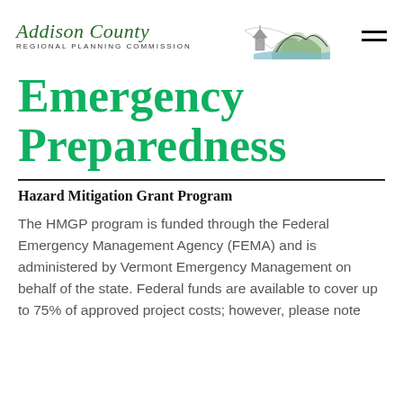[Figure (logo): Addison County Regional Planning Commission logo with illustrated landscape (church steeple, mountains, water)]
Emergency Preparedness
Hazard Mitigation Grant Program
The HMGP program is funded through the Federal Emergency Management Agency (FEMA) and is administered by Vermont Emergency Management on behalf of the state. Federal funds are available to cover up to 75% of approved project costs; however, please note